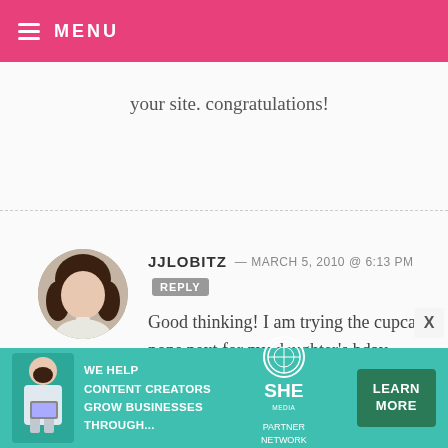MENU
your site. congratulations!
JJLOBITZ — MARCH 5, 2010 @ 6:13 PM REPLY
Good thinking! I am trying the cupcake pops next for my daughter's bday.

The flower pot cupcakes aren't going to work out – the cake pops are too heavy so it wouldn't be very stable. So I just put them in two big baskets and
[Figure (photo): Advertisement banner for SHE Media Partner Network with text: WE HELP CONTENT CREATORS GROW BUSINESSES THROUGH... LEARN MORE BECOME A MEMBER]